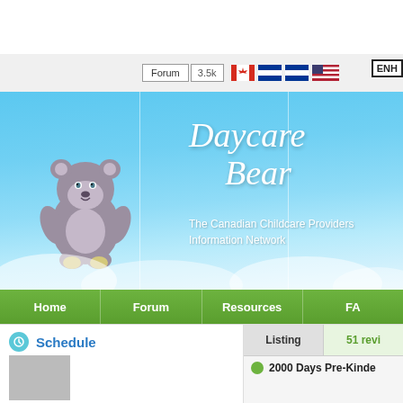[Figure (screenshot): Daycare Bear website screenshot showing navigation bar with Forum button, 3.5k badge, Canadian/other country flags, banner with bear logo and site name, green navigation menu, and bottom section with Schedule panel and listing panel]
Forum  3.5k  [Canadian flag] [flag] [flag]  ENH
Daycare Bear
The Canadian Childcare Providers Information Network
Home  Forum  Resources  FA
Schedule
| Listing | 51 revi |
| --- | --- |
2000 Days Pre-Kinde